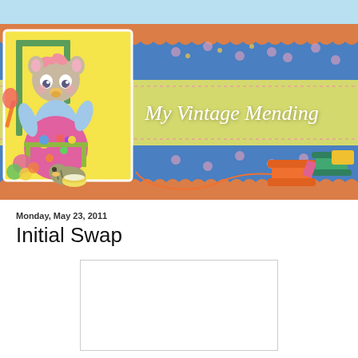[Figure (illustration): Blog header banner for 'My Vintage Mending' featuring a vintage-style illustration of an anthropomorphic cat/bear character in a colorful dress and bow, sitting at a table painting. A kitten is eating from a bowl below. Sewing spools and thread on the right. Blue floral background with orange lace border strips and a yellow band displaying the blog title 'My Vintage Mending' in cursive white script.]
Monday, May 23, 2011
Initial Swap
[Figure (photo): A white/blank rectangular image placeholder with light gray border]